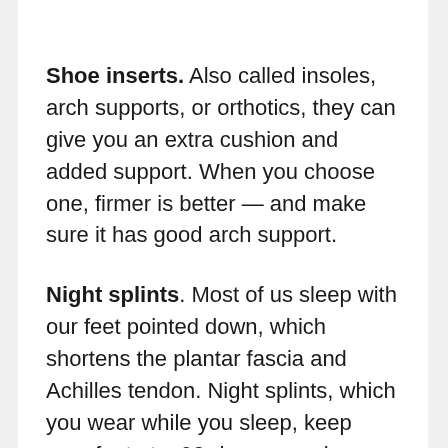Shoe inserts. Also called insoles, arch supports, or orthotics, they can give you an extra cushion and added support. When you choose one, firmer is better — and make sure it has good arch support.
Night splints. Most of us sleep with our feet pointed down, which shortens the plantar fascia and Achilles tendon. Night splints, which you wear while you sleep, keep your feet at a 90-degree angle.
They can be bulky, but they tend to work really well.